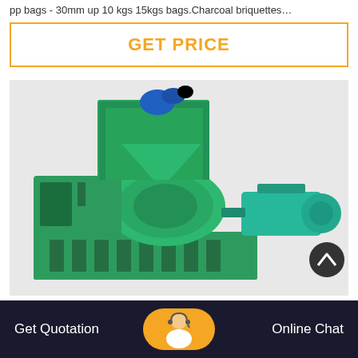pp bags - 30mm up 10 kgs 15kgs bags.Charcoal briquettes…
GET PRICE
[Figure (photo): Green industrial briquette press machine with electric motor, hopper on top, on white/light grey background]
Get Quotation   [chat agent icon]   Online Chat